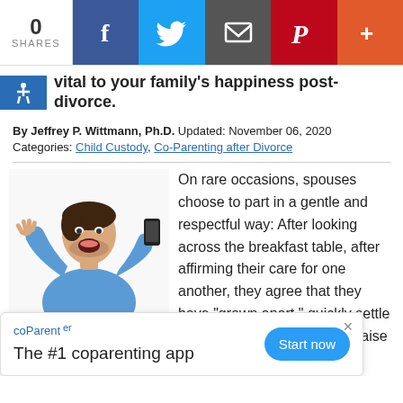0 SHARES | [Facebook] [Twitter] [Email] [Pinterest] [+]
vital to your family's happiness post-divorce.
By Jeffrey P. Wittmann, Ph.D. Updated: November 06, 2020
Categories: Child Custody, Co-Parenting after Divorce
[Figure (photo): Angry man yelling and gesturing at a phone, wearing a blue shirt, isolated on white background]
On rare occasions, spouses choose to part in a gentle and respectful way: After looking across the breakfast table, after affirming their care for one another, they agree that they have “grown apart,” quickly settle their affairs and move on to raise their children as friends from two separate homes. A wonderful scenario for children who are losing the ne... always the case when it comes to divorce, as many are
coParenter
The #1 coparenting app
Start now
×